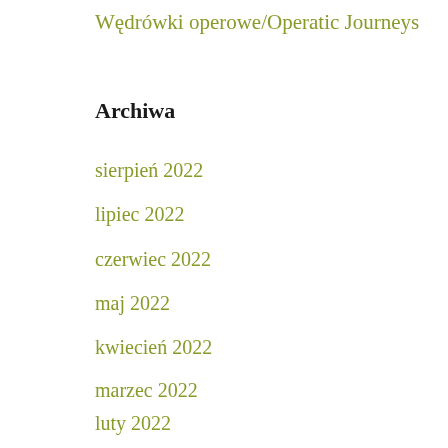Wędrówki operowe/Operatic Journeys
Archiwa
sierpień 2022
lipiec 2022
czerwiec 2022
maj 2022
kwiecień 2022
marzec 2022
luty 2022
styczeń 2022